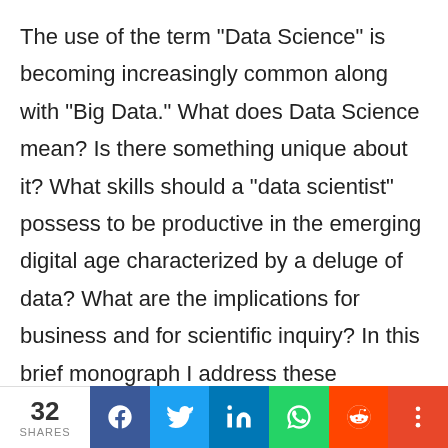The use of the term "Data Science" is becoming increasingly common along with "Big Data." What does Data Science mean? Is there something unique about it? What skills should a "data scientist" possess to be productive in the emerging digital age characterized by a deluge of data? What are the implications for business and for scientific inquiry? In this brief monograph I address these questions from a predictive modeling perspective.
[Figure (infographic): Social share bar at the bottom showing 32 SHARES count and social media buttons: Facebook (blue), Twitter (light blue), LinkedIn (dark blue), WhatsApp (green), Reddit (orange-red), and More (red-orange).]